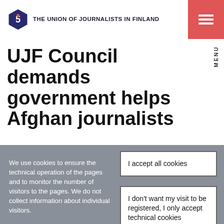THE UNION OF JOURNALISTS IN FINLAND
UJF Council demands government helps Afghan journalists
We use cookies to ensure the technical operation of the pages and to monitor the number of visitors to the pages. We do not collect information about individual visitors.
I accept all cookies
I don't want my visit to be registered, I only accept technical cookies